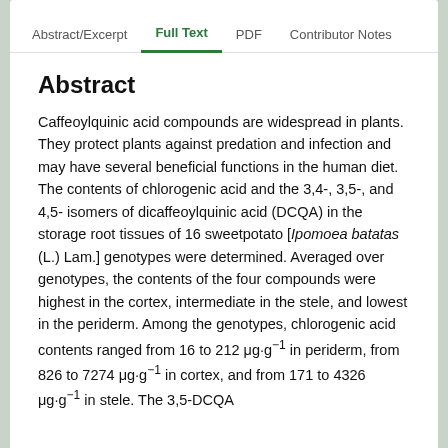Abstract/Excerpt   Full Text   PDF   Contributor Notes
Abstract
Caffeoylquinic acid compounds are widespread in plants. They protect plants against predation and infection and may have several beneficial functions in the human diet. The contents of chlorogenic acid and the 3,4-, 3,5-, and 4,5- isomers of dicaffeoylquinic acid (DCQA) in the storage root tissues of 16 sweetpotato [Ipomoea batatas (L.) Lam.] genotypes were determined. Averaged over genotypes, the contents of the four compounds were highest in the cortex, intermediate in the stele, and lowest in the periderm. Among the genotypes, chlorogenic acid contents ranged from 16 to 212 μg·g⁻¹ in periderm, from 826 to 7274 μg·g⁻¹ in cortex, and from 171 to 4326 μg·g⁻¹ in stele. The 3,5-DCQA